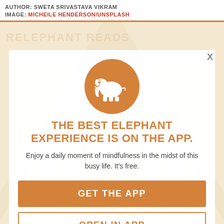AUTHOR: SWETA SRIVASTAVA VIKRAM
IMAGE: MICHEILE HENDERSON/UNSPLASH
[Figure (logo): Orange circle with white elephant silhouette icon — Elephant Journal / Elephant Reads app logo]
THE BEST ELEPHANT EXPERIENCE IS ON THE APP.
Enjoy a daily moment of mindfulness in the midst of this busy life. It's free.
GET THE APP
OPEN IN APP